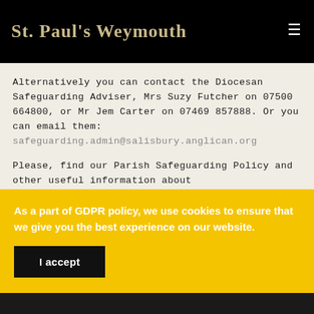St. Paul's Weymouth
Alternatively you can contact the Diocesan Safeguarding Adviser, Mrs Suzy Futcher on 07500 664800, or Mr Jem Carter on 07469 857888. Or you can email them: safeguarding.admin@salisbury.anglican.org
Please, find our Parish Safeguarding Policy and other useful information about
As a part of GDPR policy, we use cookies to ensure that we give you the best experience on our website.
I accept